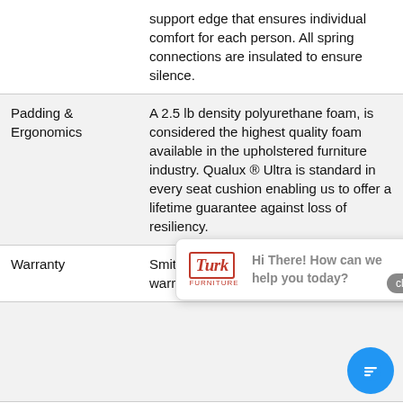| Feature | Description |
| --- | --- |
|  | support edge that ensures individual comfort for each person. All spring connections are insulated to ensure silence. |
| Padding & Ergonomics | A 2.5 lb density polyurethane foam, is considered the highest quality foam available in the upholstered furniture industry. Qualux ® Ultra is standard in every seat cushion enabling us to offer a lifetime guarantee against loss of resiliency. |
| Warranty | Smith Brothers proudly offers a lifetime warranty on hardwoo... |
| Origin | Made In the USA |
Construction & Materials
All arm caps are fully tailored and all
[Figure (other): Chat widget overlay with Turk furniture store logo on left and 'Hi There! How can we help you today?' text on right, with a close button in the upper right corner of the widget.]